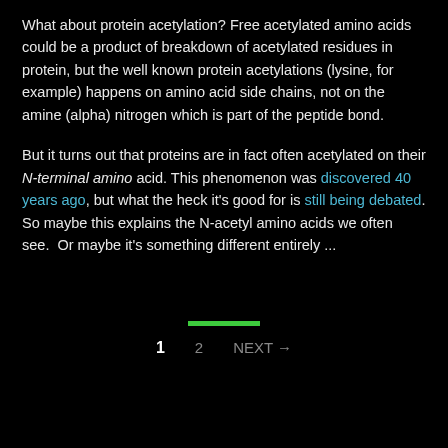What about protein acetylation? Free acetylated amino acids could be a product of breakdown of acetylated residues in protein, but the well known protein acetylations (lysine, for example) happens on amino acid side chains, not on the amine (alpha) nitrogen which is part of the peptide bond.
But it turns out that proteins are in fact often acetylated on their N-terminal amino acid. This phenomenon was discovered 40 years ago, but what the heck it's good for is still being debated. So maybe this explains the N-acetyl amino acids we often see.  Or maybe it's something different entirely ...
1   2   NEXT →